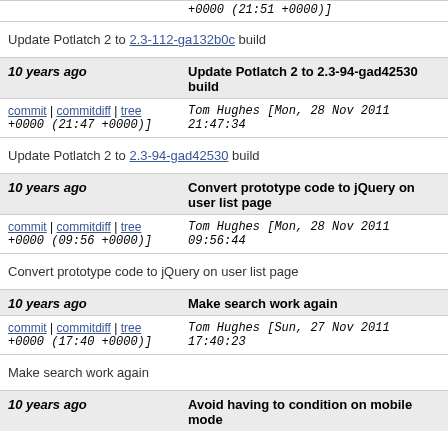+0000 (21:51 +0000)]
Update Potlatch 2 to 2.3-112-ga132b0c build
10 years ago  Update Potlatch 2 to 2.3-94-gad42530 build
commit | commitdiff | tree  Tom Hughes [Mon, 28 Nov 2011 21:47:34 +0000 (21:47 +0000)]
Update Potlatch 2 to 2.3-94-gad42530 build
10 years ago  Convert prototype code to jQuery on user list page
commit | commitdiff | tree  Tom Hughes [Mon, 28 Nov 2011 09:56:44 +0000 (09:56 +0000)]
Convert prototype code to jQuery on user list page
10 years ago  Make search work again
commit | commitdiff | tree  Tom Hughes [Sun, 27 Nov 2011 17:40:23 +0000 (17:40 +0000)]
Make search work again
10 years ago  Avoid having to condition on mobile mode